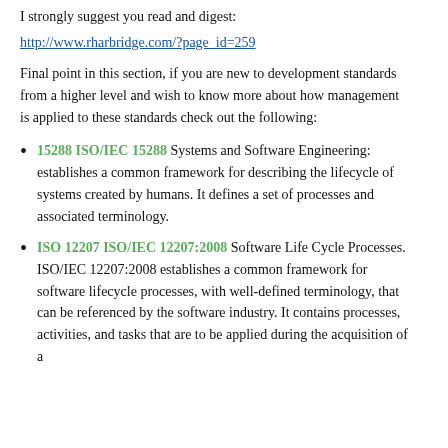I strongly suggest you read and digest:
http://www.rharbridge.com/?page_id=259
Final point in this section, if you are new to development standards from a higher level and wish to know more about how management is applied to these standards check out the following:
15288 ISO/IEC 15288 Systems and Software Engineering: establishes a common framework for describing the lifecycle of systems created by humans. It defines a set of processes and associated terminology.
ISO 12207 ISO/IEC 12207:2008 Software Life Cycle Processes. ISO/IEC 12207:2008 establishes a common framework for software lifecycle processes, with well-defined terminology, that can be referenced by the software industry. It contains processes, activities, and tasks that are to be applied during the acquisition of a